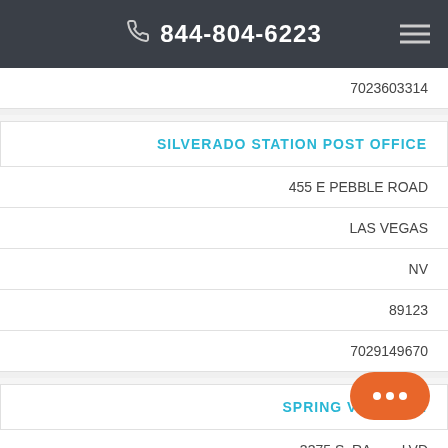844-804-6223
7023603314
SILVERADO STATION POST OFFICE
455 E PEBBLE ROAD
LAS VEGAS
NV
89123
7029149670
SPRING VALLEY STATION
3375 S. RAINBOW BLVD